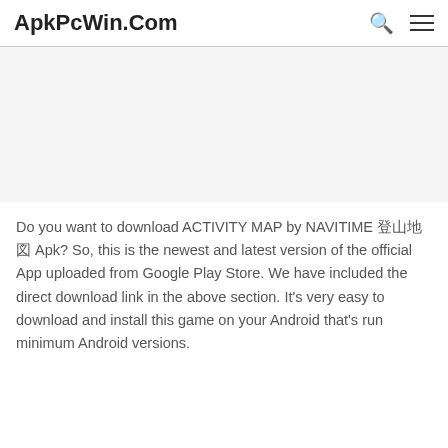ApkPcWin.Com
[Figure (other): Advertisement placeholder area, light gray background]
Do you want to download ACTIVITY MAP by NAVITIME 登山地図 Apk? So, this is the newest and latest version of the official App uploaded from Google Play Store. We have included the direct download link in the above section. It's very easy to download and install this game on your Android that's run minimum Android versions.